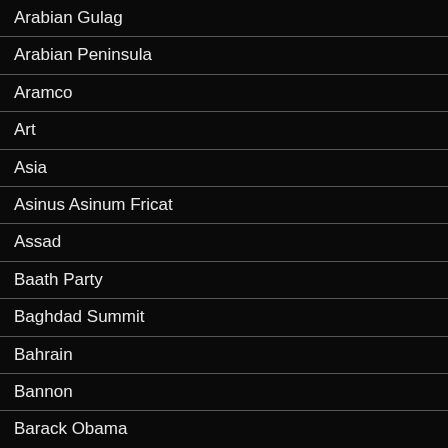Arabian Gulag
Arabian Peninsula
Aramco
Art
Asia
Asinus Asinum Fricat
Assad
Baath Party
Baghdad Summit
Bahrain
Bannon
Barack Obama
Beards